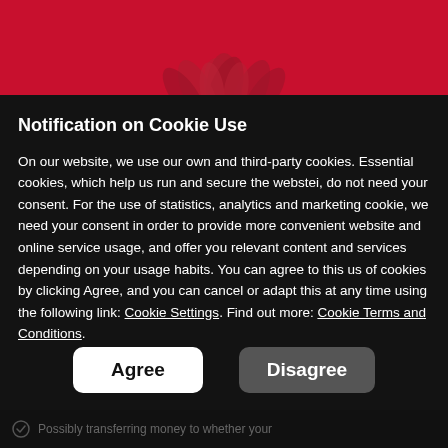[Figure (illustration): Red banner header with dark red plant/leaf silhouette against crimson background]
Notification on Cookie Use
On our website, we use our own and third-party cookies. Essential cookies, which help us run and secure the webstei, do not need your consent. For the use of statistics, analytics and marketing cookie, we need your consent in order to provide more convenient website and online service usage, and offer you relevant content and services depending on your usage habits. You can agree to this us of cookies by clicking Agree, and you can cancel or adapt this at any time using the following link: Cookie Settings. Find out more: Cookie Terms and Conditions.
Possibly transferring money to whether your